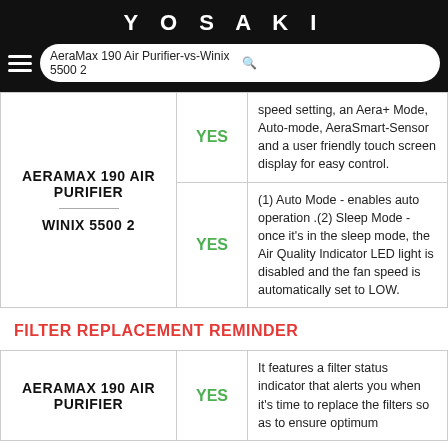YOSAKI
AeraMax 190 Air Purifier-vs-Winix 5500 2
| Product | YES/NO | Description |
| --- | --- | --- |
| AERAMAX 190 AIR PURIFIER | YES | speed setting, an Aera+ Mode, Auto-mode, AeraSmart-Sensor and a user friendly touch screen display for easy control. |
| WINIX 5500 2 | YES | (1) Auto Mode - enables auto operation .(2) Sleep Mode - once it's in the sleep mode, the Air Quality Indicator LED light is disabled and the fan speed is automatically set to LOW. |
FILTER REPLACEMENT REMINDER
| Product | YES/NO | Description |
| --- | --- | --- |
| AERAMAX 190 AIR PURIFIER | YES | It features a filter status indicator that alerts you when it's time to replace the filters so as to ensure optimum |